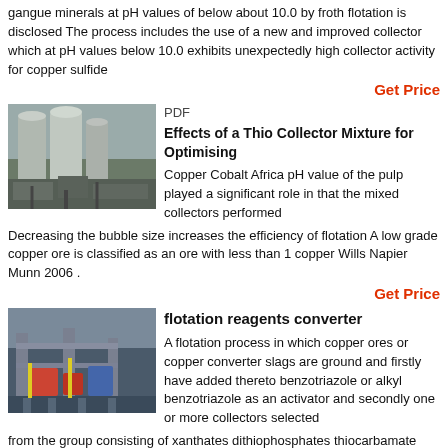gangue minerals at pH values of below about 10.0 by froth flotation is disclosed The process includes the use of a new and improved collector which at pH values below 10.0 exhibits unexpectedly high collector activity for copper sulfide
Get Price
PDF
Effects of a Thio Collector Mixture for Optimising
[Figure (photo): Industrial flotation equipment facility with large silos and processing machinery]
Copper Cobalt Africa pH value of the pulp played a significant role in that the mixed collectors performed Decreasing the bubble size increases the efficiency of flotation A low grade copper ore is classified as an ore with less than 1 copper Wills Napier Munn 2006 .
Get Price
flotation reagents converter
[Figure (photo): Industrial flotation reagents converter equipment outdoors]
A flotation process in which copper ores or copper converter slags are ground and firstly have added thereto benzotriazole or alkyl benzotriazole as an activator and secondly one or more collectors selected from the group consisting of xanthates dithiophosphates thiocarbamate esters dithiocarbamates mercaptans and dixanthogens and further if desired a promoter such as kerosene light oil